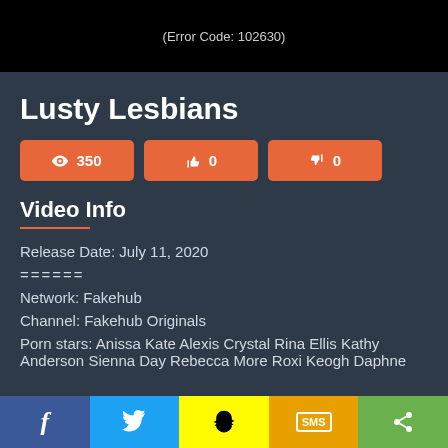[Figure (screenshot): Black video player area showing error code text]
Lusty Lesbians
350 views | 0 likes | 0 dislikes
Video Info
Release Date: July 11, 2020
======
Network: Fakehub
Channel: Fakehub Originals
Porn stars: Anissa Kate Alexis Crystal Rina Ellis Kathy Anderson Sienna Day Rebecca More Roxi Keogh Daphne
Social share buttons: Facebook, Twitter, Snapchat, SMS, Share